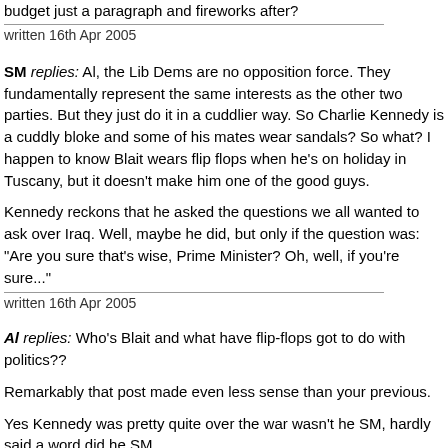budget just a paragraph and fireworks after?
written 16th Apr 2005
SM replies: Al, the Lib Dems are no opposition force. They fundamentally represent the same interests as the other two parties. But they just do it in a cuddlier way. So Charlie Kennedy is a cuddly bloke and some of his mates wear sandals? So what? I happen to know Blait wears flip flops when he's on holiday in Tuscany, but it doesn't make him one of the good guys.
Kennedy reckons that he asked the questions we all wanted to ask over Iraq. Well, maybe he did, but only if the question was: "Are you sure that's wise, Prime Minister? Oh, well, if you're sure..."
written 16th Apr 2005
Al replies: Who's Blait and what have flip-flops got to do with politics??
Remarkably that post made even less sense than your previous.
Yes Kennedy was pretty quite over the war wasn't he SM, hardly said a word did he SM...